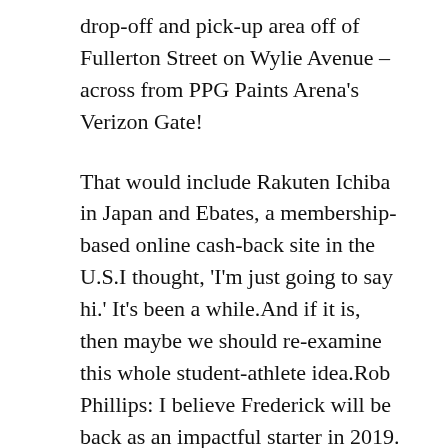drop-off and pick-up area off of Fullerton Street on Wylie Avenue – across from PPG Paints Arena's Verizon Gate!
That would include Rakuten Ichiba in Japan and Ebates, a membership-based online cash-back site in the U.S.I thought, 'I'm just going to say hi.' It's been a while.And if it is, then maybe we should re-examine this whole student-athlete idea.Rob Phillips: I believe Frederick will be back as an impactful starter in 2019.
We expect that people who consume more fiber and yogurt would have a healthier microbiome, and thus promote good health overall, she said.Bruce Brown �?Snubbed by the McDonald's game and not in the USA